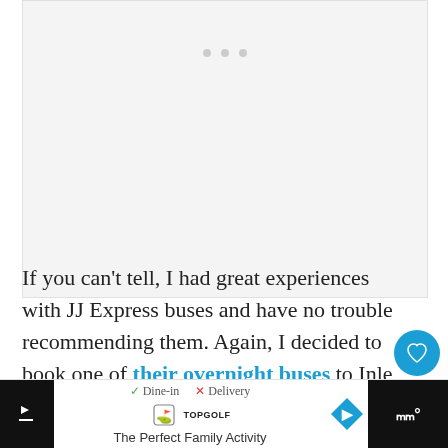[Figure (photo): Light gray image placeholder with three small gray dots centered near the top, representing a loading or unavailable image carousel.]
If you can't tell, I had great experiences with JJ Express buses and have no trouble recommending them. Again, I decided to book one of their overnight buses to Inle Lake from Bagan.
[Figure (other): Advertisement banner at bottom: TopGolf ad with Dine-in checkmark and Delivery X, TopGolf logo, The Perfect Family Activity text, blue diamond navigation icon, and W° logo on black background.]